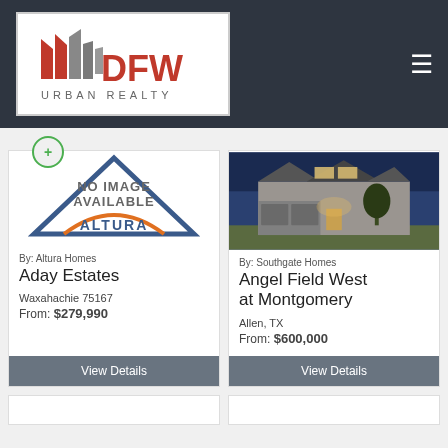[Figure (logo): DFW Urban Realty logo — red and gray abstract building/flag icons above 'DFW' in large red text, below 'URBAN REALTY' in gray spaced capitals]
By: Altura Homes
Aday Estates
Waxahachie 75167
From: $279,990
View Details
[Figure (photo): Exterior photo of a large suburban house lit at dusk/night, showing a two-car garage, stone/grey siding, and warm interior lighting]
By: Southgate Homes
Angel Field West at Montgomery
Allen, TX
From: $600,000
View Details